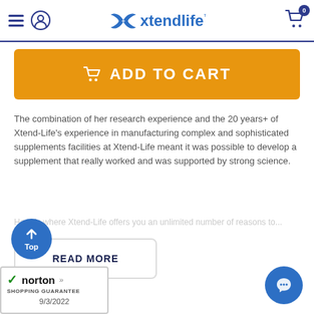Xtendlife
ADD TO CART
The combination of her research experience and the 20 years+ of Xtend-Life's experience in manufacturing complex and sophisticated supplements facilities at Xtend-Life meant it was possible to develop a supplement that really worked and was supported by strong science.
READ MORE